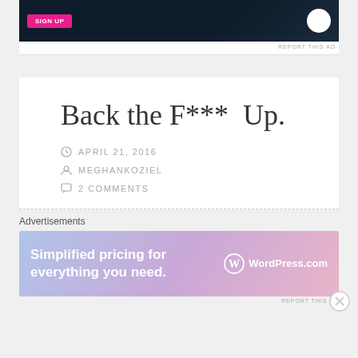[Figure (screenshot): Top advertisement banner with dark navy background, pink button, and white circle logo on right]
REPORT THIS AD
Back the F*** Up.
APRIL 21, 2016
MEGHANKOZIEL
2 COMMENTS
Advertisements
[Figure (screenshot): WordPress.com advertisement banner with gradient background (blue to pink), text 'Simplified pricing for everything you need.' and WordPress.com logo]
REPORT THIS AD